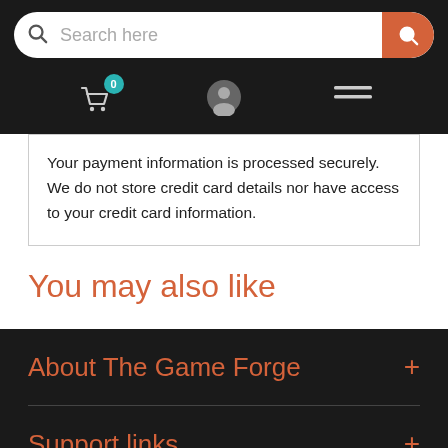Search here
[Figure (screenshot): Navigation bar with cart icon (badge showing 0), user profile icon, and hamburger menu icon on dark background]
Your payment information is processed securely. We do not store credit card details nor have access to your credit card information.
You may also like
About The Game Forge
Support links